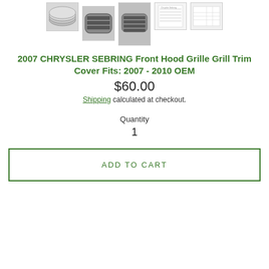[Figure (photo): Row of 5 product thumbnail images of a Chrysler Sebring front hood grille grill trim cover. Thumbnails show various angles of the part including a stacked view, front view, side/angle view, and a document/spec sheet.]
2007 CHRYSLER SEBRING Front Hood Grille Grill Trim Cover Fits: 2007 - 2010 OEM
$60.00
Shipping calculated at checkout.
Quantity
1
ADD TO CART